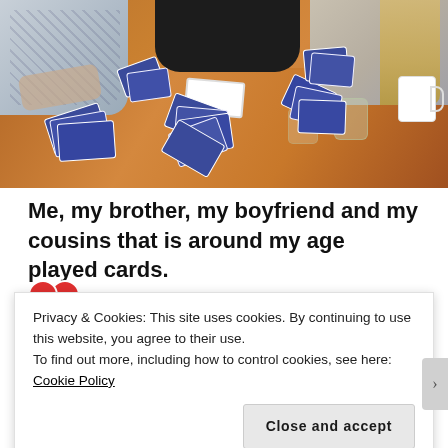[Figure (photo): Photo of people sitting around a wooden table playing cards. Blue playing cards are spread across the table. Glasses and a mug are visible. Three people visible: one on left in floral/patterned top with watch, one in center in black top, one on right in grey top with long blonde hair.]
Me, my brother, my boyfriend and my cousins that is around my age played cards.
Privacy & Cookies: This site uses cookies. By continuing to use this website, you agree to their use.
To find out more, including how to control cookies, see here: Cookie Policy
Close and accept